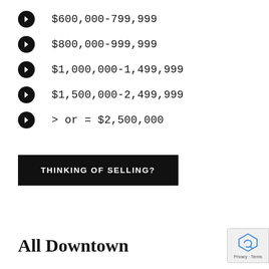$600,000-799,999
$800,000-999,999
$1,000,000-1,499,999
$1,500,000-2,499,999
> or = $2,500,000
THINKING OF SELLING?
All Downtown